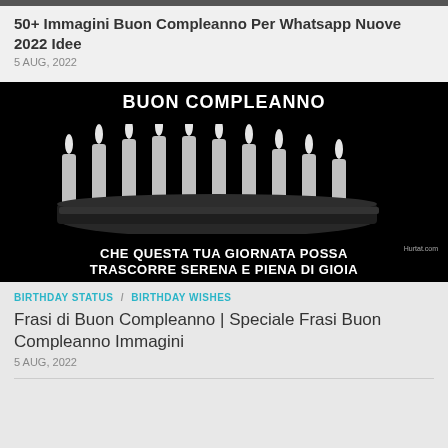50+ Immagini Buon Compleanno Per Whatsapp Nuove 2022 Idee
5 AUG, 2022
[Figure (photo): Black and white birthday cake with lit candles and text: BUON COMPLEANNO / CHE QUESTA TUA GIORNATA POSSA TRASCORRE SERENA E PIENA DI GIOIA. Watermark: Hurtat.com]
BIRTHDAY STATUS / BIRTHDAY WISHES
Frasi di Buon Compleanno | Speciale Frasi Buon Compleanno Immagini
5 AUG, 2022